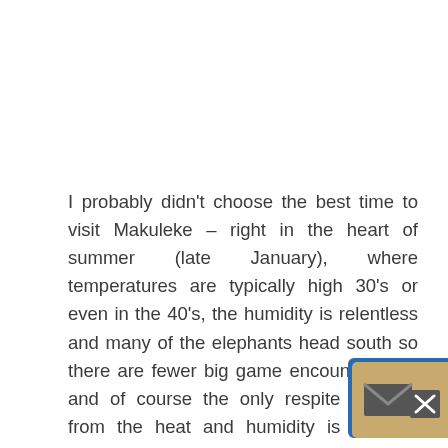I probably didn't choose the best time to visit Makuleke – right in the heart of summer (late January), where temperatures are typically high 30's or even in the 40's, the humidity is relentless and many of the elephants head south so there are fewer big game encounters. Oh and of course the only respite you get from the heat and humidity is when it rains, and it did rain quite a bit. In fact in January this year there has been more rain at Makuleke than their average for an entire year! The good news is that it is absolutely stunningly green and all the rivers and waterholes are full of water. I am sure the animals extremely pleased. The downside of course is that